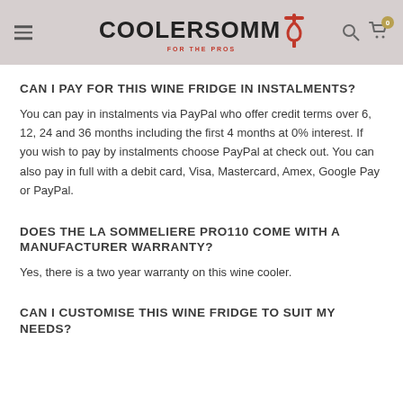COOLERSOMM FOR THE PROS
CAN I PAY FOR THIS WINE FRIDGE IN INSTALMENTS?
You can pay in instalments via PayPal who offer credit terms over 6, 12, 24 and 36 months including the first 4 months at 0% interest. If you wish to pay by instalments choose PayPal at check out. You can also pay in full with a debit card, Visa, Mastercard, Amex, Google Pay or PayPal.
DOES THE LA SOMMELIERE PRO110 COME WITH A MANUFACTURER WARRANTY?
Yes, there is a two year warranty on this wine cooler.
CAN I CUSTOMISE THIS WINE FRIDGE TO SUIT MY NEEDS?